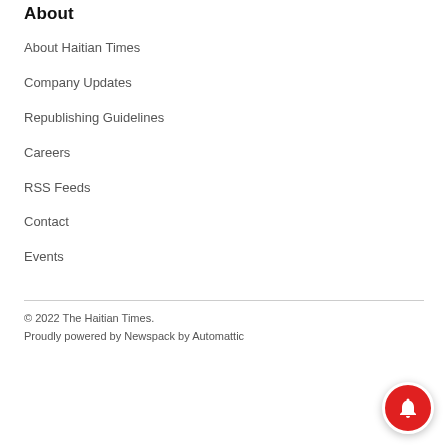About
About Haitian Times
Company Updates
Republishing Guidelines
Careers
RSS Feeds
Contact
Events
© 2022 The Haitian Times.
Proudly powered by Newspack by Automattic